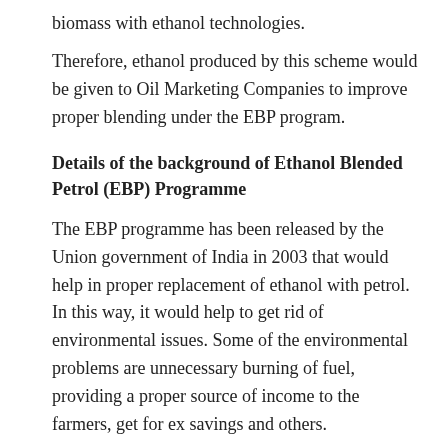biomass with ethanol technologies.
Therefore, ethanol produced by this scheme would be given to Oil Marketing Companies to improve proper blending under the EBP program.
Details of the background of Ethanol Blended Petrol (EBP) Programme
The EBP programme has been released by the Union government of India in 2003 that would help in proper replacement of ethanol with petrol. In this way, it would help to get rid of environmental issues. Some of the environmental problems are unnecessary burning of fuel, providing a proper source of income to the farmers, get for ex savings and others.
The EBP programme is active in 21 states along with 4 UTs in the country. In addition to this, it has been said that 10% ethanol would be mixed with petrol. Also, ethanol production would also be thought about by the central government.